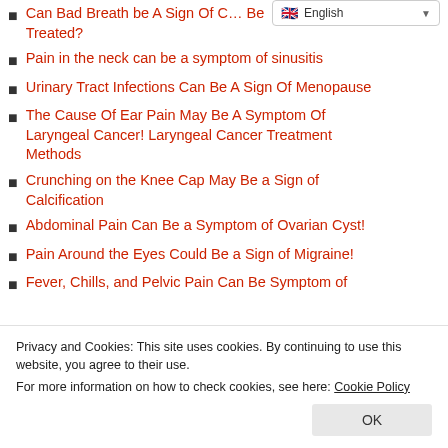Can Bad Breath be A Sign Of Cancer? Can Bad Breath Be Treated?
Pain in the neck can be a symptom of sinusitis
Urinary Tract Infections Can Be A Sign Of Menopause
The Cause Of Ear Pain May Be A Symptom Of Laryngeal Cancer! Laryngeal Cancer Treatment Methods
Crunching on the Knee Cap May Be a Sign of Calcification
Abdominal Pain Can Be a Symptom of Ovarian Cyst!
Pain Around the Eyes Could Be a Sign of Migraine!
Fever, Chills, and Pelvic Pain Can Be Symptom of ...
Privacy and Cookies: This site uses cookies. By continuing to use this website, you agree to their use. For more information on how to check cookies, see here: Cookie Policy